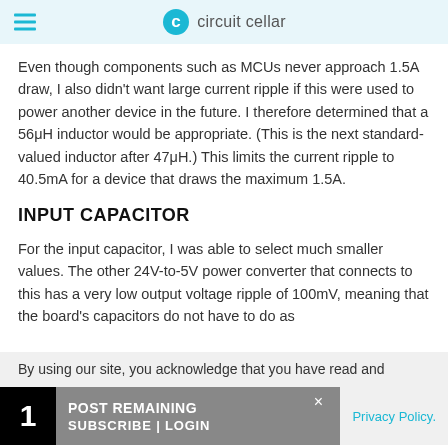circuit cellar
Even though components such as MCUs never approach 1.5A draw, I also didn't want large current ripple if this were used to power another device in the future. I therefore determined that a 56μH inductor would be appropriate. (This is the next standard-valued inductor after 47μH.) This limits the current ripple to 40.5mA for a device that draws the maximum 1.5A.
INPUT CAPACITOR
For the input capacitor, I was able to select much smaller values. The other 24V-to-5V power converter that connects to this has a very low output voltage ripple of 100mV, meaning that the board's capacitors do not have to do as
By using our site, you acknowledge that you have read and
Privacy Policy.
1 POST REMAINING  SUBSCRIBE | LOGIN